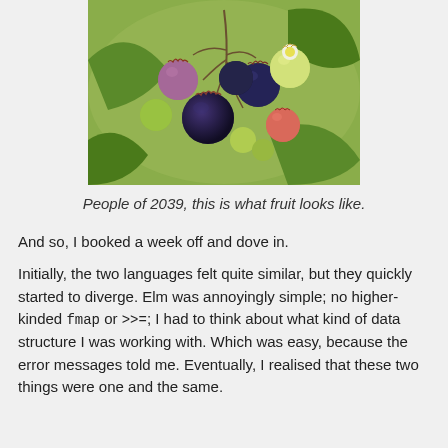[Figure (photo): Close-up photograph of blueberries at various stages of ripeness on a bush, ranging from dark blue/purple ripe berries to green unripe ones, against a blurred green leafy background.]
People of 2039, this is what fruit looks like.
And so, I booked a week off and dove in.
Initially, the two languages felt quite similar, but they quickly started to diverge. Elm was annoyingly simple; no higher-kinded fmap or >>=; I had to think about what kind of data structure I was working with. Which was easy, because the error messages told me. Eventually, I realised that these two things were one and the same.